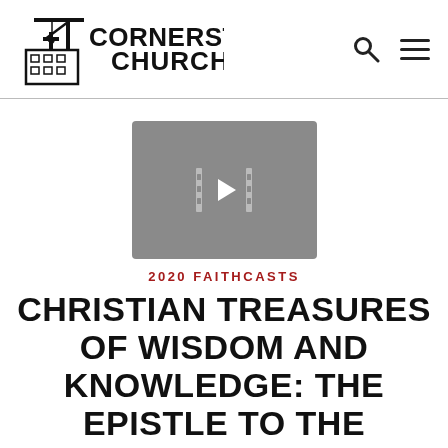Cornerstone Church
[Figure (screenshot): Video thumbnail placeholder with play button icon on gray background]
2020 FAITHCASTS
CHRISTIAN TREASURES OF WISDOM AND KNOWLEDGE: THE EPISTLE TO THE COLOSSIANS #6 REACH